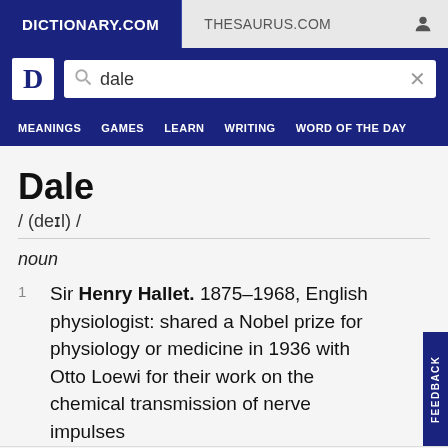DICTIONARY.COM | THESAURUS.COM
Dale
/ (deɪl) /
noun
1. Sir Henry Hallet. 1875–1968, English physiologist: shared a Nobel prize for physiology or medicine in 1936 with Otto Loewi for their work on the chemical transmission of nerve impulses
COLLINS ENGLISH DICTIONARY - COMPLETE & UNABRIDGED 2012 DIGITAL